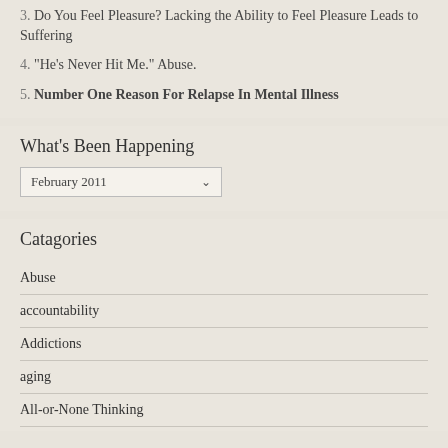3. Do You Feel Pleasure? Lacking the Ability to Feel Pleasure Leads to Suffering
4. "He's Never Hit Me." Abuse.
5. Number One Reason For Relapse In Mental Illness
What's Been Happening
February 2011
Catagories
Abuse
accountability
Addictions
aging
All-or-None Thinking